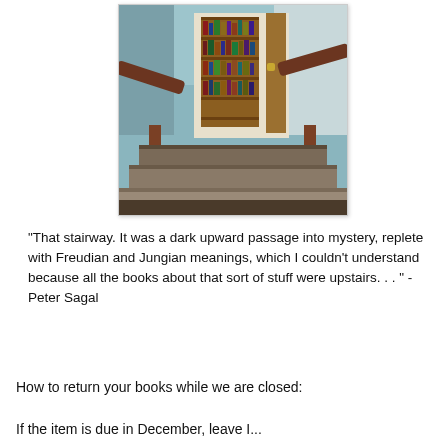[Figure (photo): A photograph of a library stairway viewed from below, looking up toward an open door with a bookshelf visible through the doorway. Wooden handrails on both sides, carpeted steps, teal/blue walls.]
"That stairway. It was a dark upward passage into mystery, replete with Freudian and Jungian meanings, which I couldn't understand because all the books about that sort of stuff were upstairs. . . " - Peter Sagal
How to return your books while we are closed:
If the item is due in December, leave I...